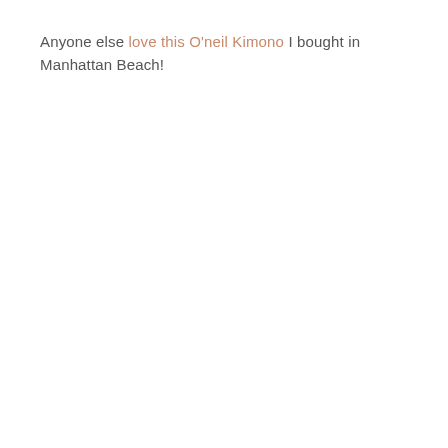Anyone else love this O'neil Kimono I bought in Manhattan Beach!